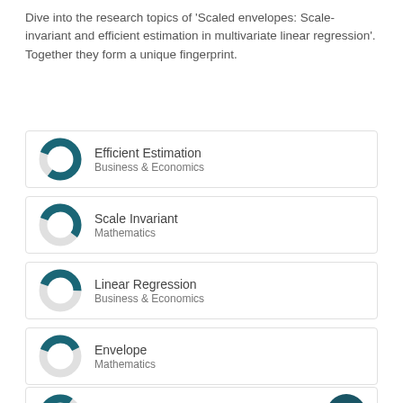Dive into the research topics of 'Scaled envelopes: Scale-invariant and efficient estimation in multivariate linear regression'. Together they form a unique fingerprint.
[Figure (donut-chart): Donut chart showing high fill (approx 80%) in teal for Efficient Estimation, Business & Economics]
Efficient Estimation
Business & Economics
[Figure (donut-chart): Donut chart showing medium fill (approx 55%) in teal for Scale Invariant, Mathematics]
Scale Invariant
Mathematics
[Figure (donut-chart): Donut chart showing medium-low fill (approx 45%) in teal for Linear Regression, Business & Economics]
Linear Regression
Business & Economics
[Figure (donut-chart): Donut chart showing low-medium fill (approx 40%) in teal for Envelope, Mathematics]
Envelope
Mathematics
[Figure (donut-chart): Donut chart showing low fill (approx 30%) in teal for Linear regression, Engineering & Materials Science]
Linear regression
Engineering & Materials Science